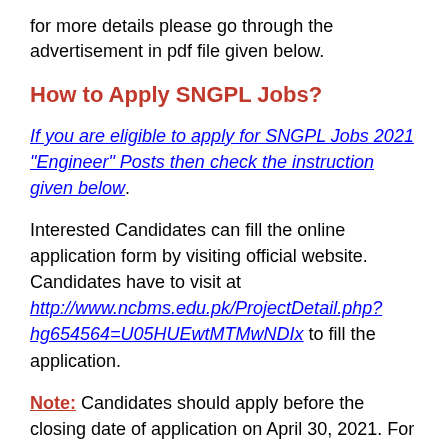for more details please go through the advertisement in pdf file given below.
How to Apply SNGPL Jobs?
If you are eligible to apply for SNGPL Jobs 2021 "Engineer" Posts then check the instruction given below.
Interested Candidates can fill the online application form by visiting official website. Candidates have to visit at http://www.ncbms.edu.pk/ProjectDetail.php?hg654564=U05HUEwtMTMwNDIx to fill the application.
Note: Candidates should apply before the closing date of application on April 30, 2021. For further information like minimum qualification, salary,